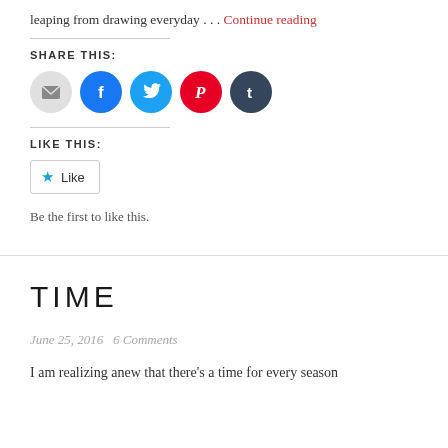leaping from drawing everyday . . . Continue reading
SHARE THIS:
[Figure (infographic): Row of social share icon buttons: email (grey), Facebook (blue), Twitter (cyan), Pinterest (red), Tumblr (dark navy)]
LIKE THIS:
[Figure (infographic): Like button widget with star icon and text 'Like']
Be the first to like this.
TIME
June 25, 2016   6 Comments
I am realizing anew that there's a time for every season